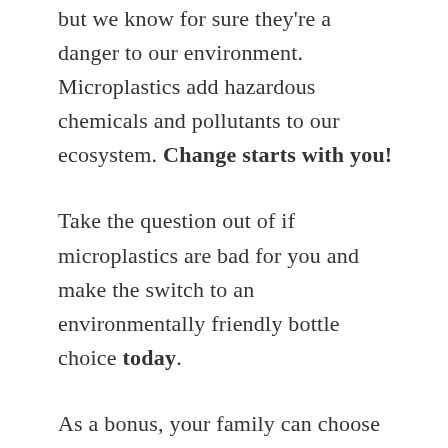but we know for sure they're a danger to our environment. Microplastics add hazardous chemicals and pollutants to our ecosystem. Change starts with you!
Take the question out of if microplastics are bad for you and make the switch to an environmentally friendly bottle choice today.
As a bonus, your family can choose to reduce the amount of Tupperware or plastic dishware you heat up in